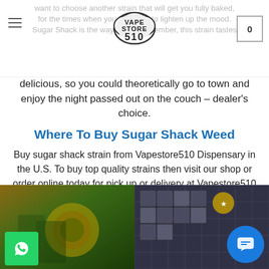want to choose another strain that will get you fully baked, for the times when you just want to lighten up the mood, Sugar Shack is the way to go. Remember, this strain tastes
delicious, so you could theoretically go to town and enjoy the night passed out on the couch – dealer’s choice.
Where To Buy Sugar Shack Weed
Buy sugar shack strain from Vapestore510 Dispensary in the U.S. To buy top quality strains then visit our shop or order online today for pick up or delivery at Vapestore510 and avoid waiting in long lines. You can also sample some of our other exotic strains such Obama Runtz, the Pink Runtz strain
[Figure (photo): Cannabis product packaging with gold and green circular logo on colorful boxes]
[Figure (photo): Dark blue/grey product boxes arranged in a grid pattern]